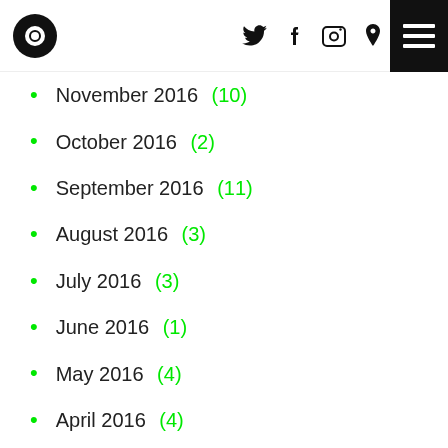Logo | Twitter | Facebook | Instagram | Location | Menu
November 2016 (10)
October 2016 (2)
September 2016 (11)
August 2016 (3)
July 2016 (3)
June 2016 (1)
May 2016 (4)
April 2016 (4)
March 2016 (3)
February 2016 (3)
January 2016 (6)
December 2015 (5)
November 2015 (2)